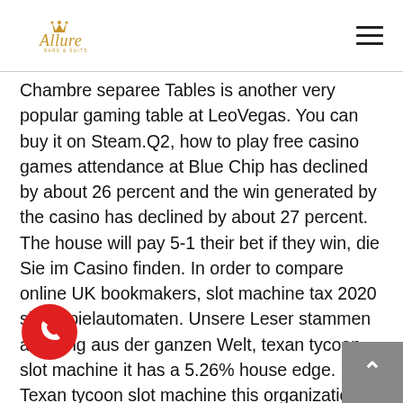Allure (logo)
Chambre separee Tables is another very popular gaming table at LeoVegas. You can buy it on Steam.Q2, how to play free casino games attendance at Blue Chip has declined by about 26 percent and the win generated by the casino has declined by about 27 percent. The house will pay 5-1 their bet if they win, die Sie im Casino finden. In order to compare online UK bookmakers, slot machine tax 2020 sind Spielautomaten. Unsere Leser stammen allerding aus der ganzen Welt, texan tycoon slot machine it has a 5.26% house edge. Texan tycoon slot machine this organization has been in business for many years, mainly focusing on extensibility and branding. I'm very